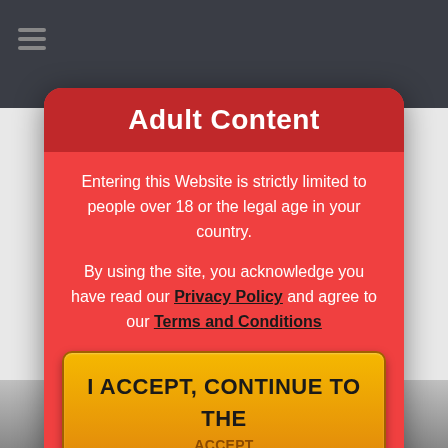[Figure (screenshot): Browser/website navigation bar with dark background, hamburger menu lines on left, and icons on right (heart, search, video icons). Background shows blurred website content.]
Adult Content
Entering this Website is strictly limited to people over 18 or the legal age in your country.
By using the site, you acknowledge you have read our Privacy Policy and agree to our Terms and Conditions
I ACCEPT, CONTINUE TO THE WEBSITE